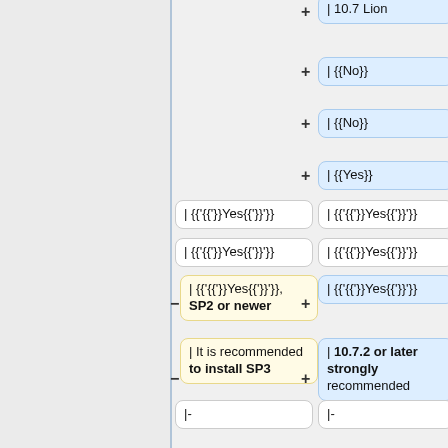[Figure (other): Wiki diff view showing table code rows with blue (new) and yellow (changed) highlighted boxes. Blue boxes on right: '+ | 10.7 Lion', '+ | {{No}}', '+ | {{No}}', '+ | {{Yes}}', '| {{Yes}}', '| {{Yes}}', '+ | {{Yes}}', '+ | 10.7.2 or later strongly recommended', '|-', '+ | 10.8 Mountain Lion', '+ | {{No}}'. Yellow boxes on left: '| {{Yes}}', '| {{Yes}}', '- | {{Yes}}, SP2 or newer', '- | It is recommended to install SP3', '|-', '- | Windows Vista'.]